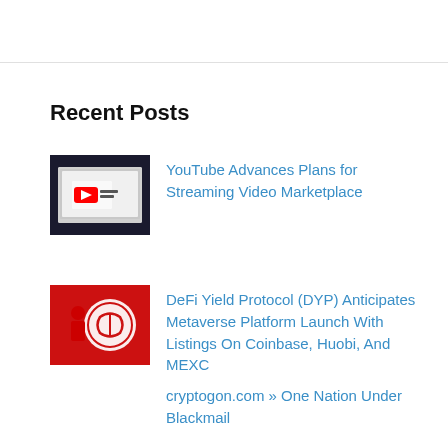Recent Posts
YouTube Advances Plans for Streaming Video Marketplace
DeFi Yield Protocol (DYP) Anticipates Metaverse Platform Launch With Listings On Coinbase, Huobi, And MEXC
cryptogon.com » One Nation Under Blackmail